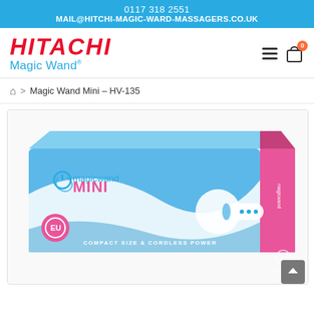0117 318 2551
MAIL@HITCHI-MAGIC-WARD-MASSAGERS.CO.UK
[Figure (logo): Hitachi Magic Wand logo in red italic bold text with blue 'Magic Wand' subtitle]
Magic Wand Mini – HV-135
[Figure (photo): Product box for the Magic Wand Mini HV-135. Blue and pink packaging showing the cordless massager device with text 'magicwand MINI' and 'COMPACT SIZE & CORDLESS POWER']